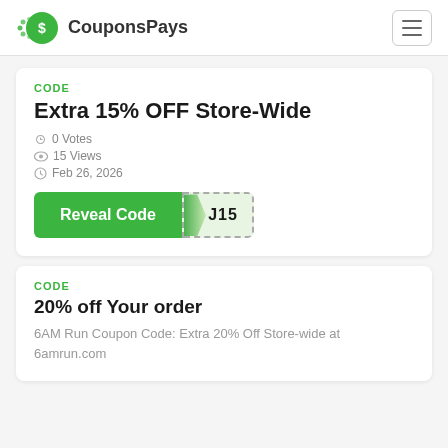CouponsPays
CODE
Extra 15% OFF Store-Wide
0 Votes
15 Views
Feb 26, 2026
Reveal Code J15
CODE
20% off Your order
6AM Run Coupon Code: Extra 20% Off Store-wide at 6amrun.com